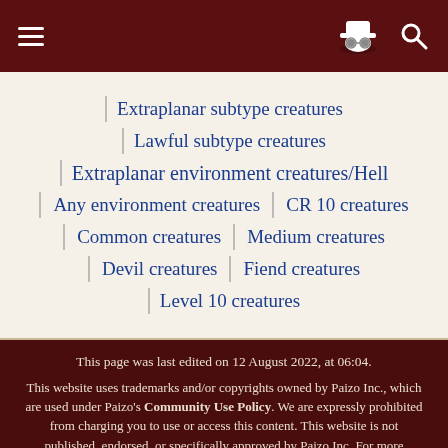Navigation bar with menu and search icons
Extraplanar subtype creatures
Lawful subtype creatures
Extraplanar environment creatures/Hell
Any environment creatures | CR 10 creatures
Common creatures | Medium creatures
Devil creatures | Fiend creatures
Level 10 creatures
This page was last edited on 12 August 2022, at 06:04.
This website uses trademarks and/or copyrights owned by Paizo Inc., which are used under Paizo's Community Use Policy. We are expressly prohibited from charging you to use or access this content. This website is not published, endorsed, or specifically approved by Paizo Inc. For more information about Paizo's Community Use Policy, please visit paizo.com/communityuse. For more